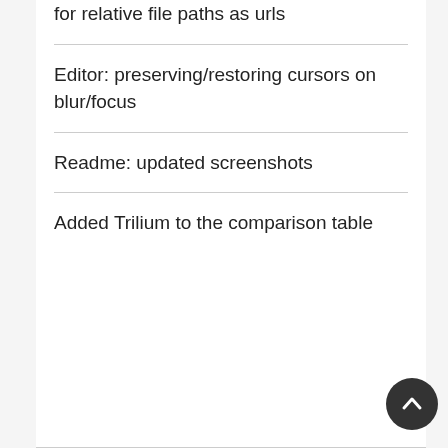for relative file paths as urls
Editor: preserving/restoring cursors on blur/focus
Readme: updated screenshots
Added Trilium to the comparison table